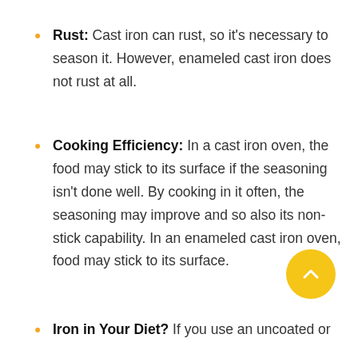Rust: Cast iron can rust, so it's necessary to season it. However, enameled cast iron does not rust at all.
Cooking Efficiency: In a cast iron oven, the food may stick to its surface if the seasoning isn't done well. By cooking in it often, the seasoning may improve and so also its non-stick capability. In an enameled cast iron oven, food may stick to its surface.
Iron in Your Diet? If you use an uncoated or